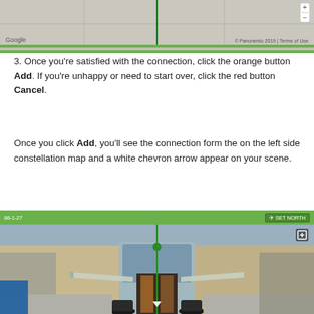[Figure (screenshot): Google Street View map interface screenshot showing aerial/map view with a vertical green line and green bar at bottom. Google logo visible at bottom left, Terms of Use at bottom right, zoom controls at top right.]
3. Once you're satisfied with the connection, click the orange button Add. If you're unhappy or need to start over, click the red button Cancel.
Once you click Add, you'll see the connection form the on the left side constellation map and a white chevron arrow appear on your scene.
[Figure (screenshot): Street View interface showing the entrance of a modern building with stone facade, glass canopy, potted plants, and awnings. Green bar at top with scene label and SET NORTH button. Vertical green line down the center with a green dot. Small icon at top right corner.]